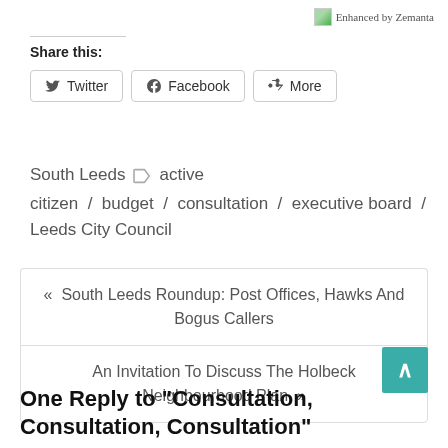[Figure (logo): Enhanced by Zemanta badge with small icon]
Share this:
Twitter  Facebook  More
South Leeds  ◆  active
citizen / budget / consultation / executive board / Leeds City Council
«  South Leeds Roundup: Post Offices, Hawks And Bogus Callers
An Invitation To Discuss The Holbeck Neighbourhood Plan  »
One Reply to "Consultation, Consultation, Consultation"